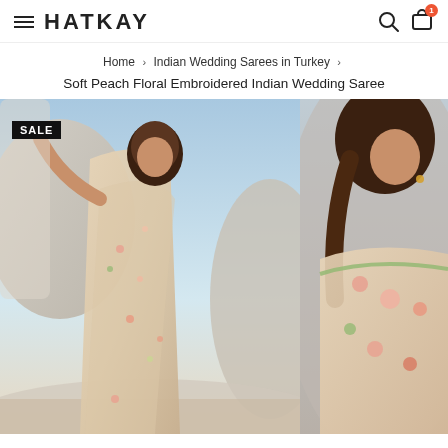HATKAY
Home › Indian Wedding Sarees in Turkey › Soft Peach Floral Embroidered Indian Wedding Saree
Soft Peach Floral Embroidered Indian Wedding Saree
[Figure (photo): Woman wearing a soft peach floral embroidered Indian wedding saree, posing against white stone rocks with a sky background. A SALE badge is visible in the top-left corner.]
[Figure (photo): Close-up view of a woman wearing the same soft peach floral embroidered Indian wedding saree, showing detail of the blouse embroidery and florals.]